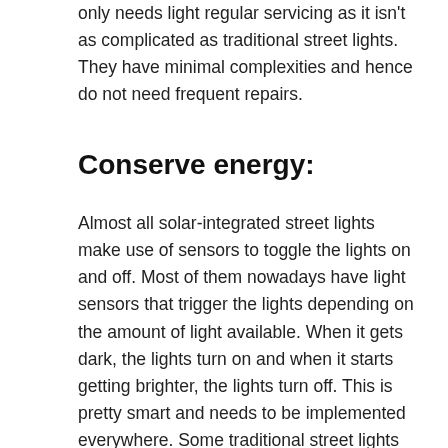only needs light regular servicing as it isn't as complicated as traditional street lights. They have minimal complexities and hence do not need frequent repairs.
Conserve energy:
Almost all solar-integrated street lights make use of sensors to toggle the lights on and off. Most of them nowadays have light sensors that trigger the lights depending on the amount of light available. When it gets dark, the lights turn on and when it starts getting brighter, the lights turn off. This is pretty smart and needs to be implemented everywhere. Some traditional street lights do have some automatic system but most of them are just timers. With our solar-integrated street light, we